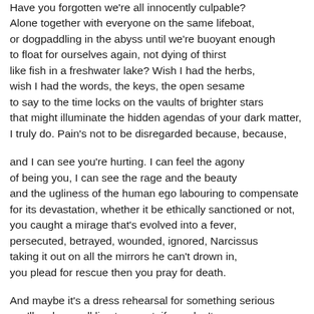Have you forgotten we're all innocently culpable?
Alone together with everyone on the same lifeboat,
or dogpaddling in the abyss until we're buoyant enough
to float for ourselves again, not dying of thirst
like fish in a freshwater lake? Wish I had the herbs,
wish I had the words, the keys, the open sesame
to say to the time locks on the vaults of brighter stars
that might illuminate the hidden agendas of your dark matter,
I truly do. Pain's not to be disregarded because, because,

and I can see you're hurting. I can feel the agony
of being you, I can see the rage and the beauty
and the ugliness of the human ego labouring to compensate
for its devastation, whether it be ethically sanctioned or not,
you caught a mirage that's evolved into a fever,
persecuted, betrayed, wounded, ignored, Narcissus
taking it out on all the mirrors he can't drown in,
you plead for rescue then you pray for death.

And maybe it's a dress rehearsal for something serious
you'll make us all live to regret, if you don't
enslave us first to the nose rings of our compassion